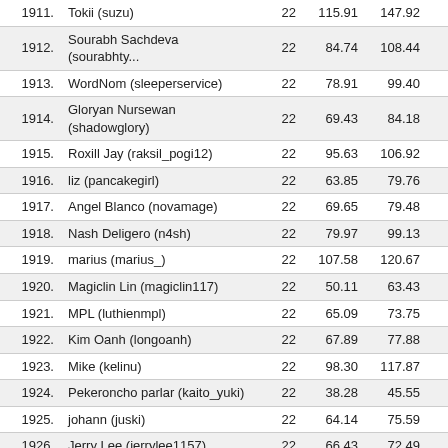|  |  |  |  |  |  |
| --- | --- | --- | --- | --- | --- |
| 1911. | Tokii (suzu) | 22 | 115.91 | 147.92 | 11 |
| 1912. | Sourabh Sachdeva (sourabhty... | 22 | 84.74 | 108.44 | 9 |
| 1913. | WordNom (sleeperservice) | 22 | 78.91 | 99.40 | 11 |
| 1914. | Gloryan Nursewan (shadowglory) | 22 | 69.43 | 84.18 | 17 |
| 1915. | Roxill Jay (raksil_pogi12) | 22 | 95.63 | 106.92 | 9 |
| 1916. | liz (pancakegirl) | 22 | 63.85 | 79.76 | 6 |
| 1917. | Angel Blanco (novamage) | 22 | 69.65 | 79.48 | 7 |
| 1918. | Nash Deligero (n4sh) | 22 | 79.97 | 99.13 | 12 |
| 1919. | marius (marius_) | 22 | 107.58 | 120.67 | 16 |
| 1920. | Magiclin Lin (magiclin117) | 22 | 50.11 | 63.43 | 4 |
| 1921. | MPL (luthienmpl) | 22 | 65.09 | 73.75 | 5 |
| 1922. | Kim Oanh (longoanh) | 22 | 67.89 | 77.88 | 7 |
| 1923. | Mike (kelinu) | 22 | 98.30 | 117.87 | 14 |
| 1924. | Pekeroncho parlar (kaito_yuki) | 22 | 38.28 | 45.55 | 13 |
| 1925. | johann (juski) | 22 | 64.14 | 75.59 | 8 |
| 1926. | Jerry Lee (jerrylee1157) | 22 | 66.43 | 72.49 | 6 |